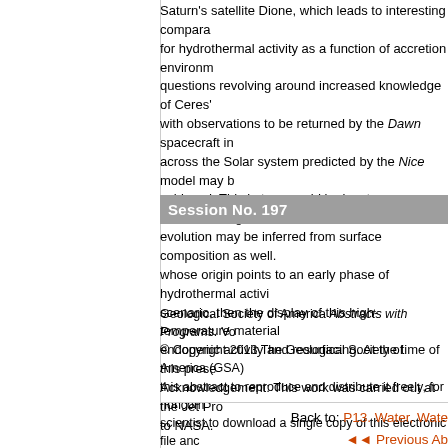Saturn's satellite Dione, which leads to interesting comparisons for hydrothermal activity as a function of accretion environment, questions revolving around increased knowledge of Ceres' with observations to be returned by the Dawn spacecraft in across the Solar system predicted by the Nice model may b achieved. This in turn would be key to understanding the or evolution may be inferred from surface composition as well. whose origin points to an early phase of hydrothermal activi scenario, then the display of this high-temperature material endogenic activity and resurfacing. At the time of this prese Acknowledgement: This work was carried out at the Jet Pro to NASA.
Session No. 197
Geological Society of America Abstracts with Programs. Vo © Copyright 2013 The Geological Society of America (GSA this abstract to reproduce and distribute it freely, for noncom scientist to download a single copy of this electronic file anc advancing science and education, including classroom use, including the author information. All other forms of reproduc GSA Copyright Permissions.
Back to: P13. Water, Wate
◄◄ Previous Ab